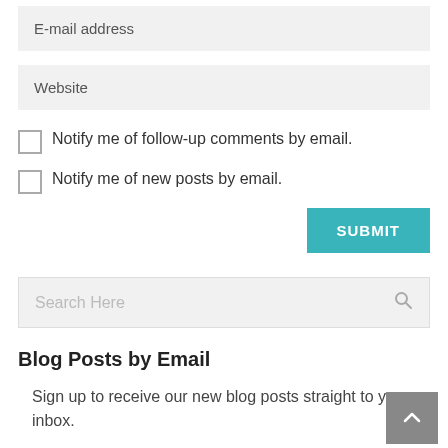E-mail address
Website
Notify me of follow-up comments by email.
Notify me of new posts by email.
SUBMIT
Search Here
Blog Posts by Email
Sign up to receive our new blog posts straight to your inbox.